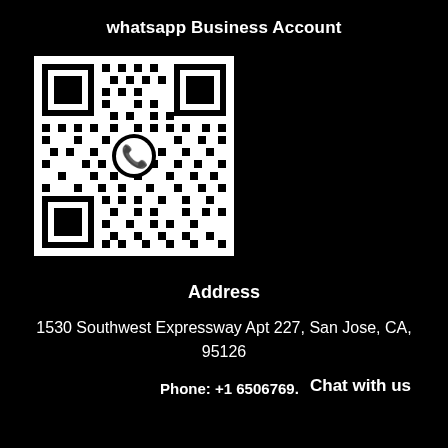whatsapp Business Account
[Figure (other): WhatsApp QR code with WhatsApp phone icon in the center, black and white pattern on white background]
Address
1530 Southwest Expressway Apt 227, San Jose, CA, 95126
Phone: +1 6506769.
Chat with us
[Figure (other): Currency selector showing US flag icon in yellow circle with USD label and dropdown chevron on white rounded badge]